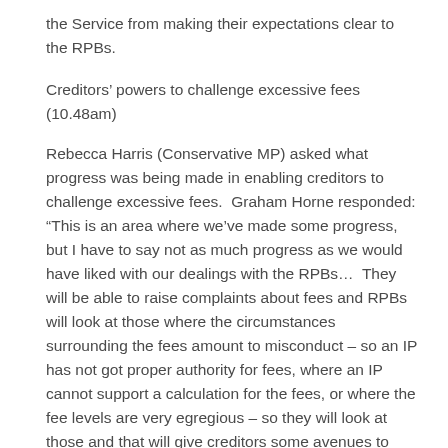the Service from making their expectations clear to the RPBs.
Creditors' powers to challenge excessive fees (10.48am)
Rebecca Harris (Conservative MP) asked what progress was being made in enabling creditors to challenge excessive fees.  Graham Horne responded: “This is an area where we’ve made some progress, but I have to say not as much progress as we would have liked with our dealings with the RPBs…  They will be able to raise complaints about fees and RPBs will look at those where the circumstances surrounding the fees amount to misconduct – so an IP has not got proper authority for fees, where an IP cannot support a calculation for the fees, or where the fee levels are very egregious – so they will look at those and that will give creditors some avenues to complain. The position is still that in most cases the recourse is to the court if you’re not happy with